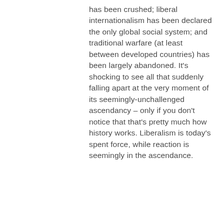has been crushed; liberal internationalism has been declared the only global social system; and traditional warfare (at least between developed countries) has been largely abandoned. It's shocking to see all that suddenly falling apart at the very moment of its seemingly-unchallenged ascendancy – only if you don't notice that that's pretty much how history works. Liberalism is today's spent force, while reaction is seemingly in the ascendance.